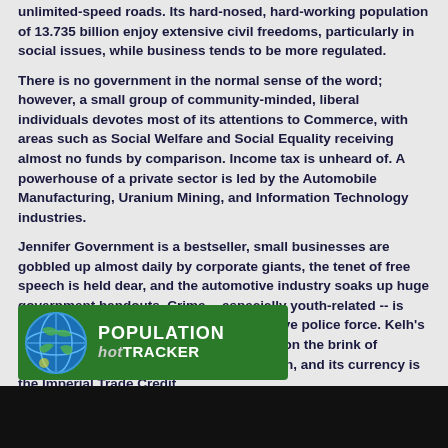unlimited-speed roads. Its hard-nosed, hard-working population of 13.735 billion enjoy extensive civil freedoms, particularly in social issues, while business tends to be more regulated.
There is no government in the normal sense of the word; however, a small group of community-minded, liberal individuals devotes most of its attentions to Commerce, with areas such as Social Welfare and Social Equality receiving almost no funds by comparison. Income tax is unheard of. A powerhouse of a private sector is led by the Automobile Manufacturing, Uranium Mining, and Information Technology industries.
Jennifer Government is a bestseller, small businesses are gobbled up almost daily by corporate giants, the tenet of free speech is held dear, and the automotive industry soaks up huge government handouts. Crime -- especially youth-related -- is totally unknown, thanks to the all-pervasive police force. Kelh's national animal is the Hutt, which teeters on the brink of extinction due to widespread deforestation, and its currency is the Imperial Trade Credit.
Kelh is ranked 1st in the region and 81st in the world for Largest Cheese Export Sector.
[Figure (other): Population hot tracker banner with globe icon on green background]